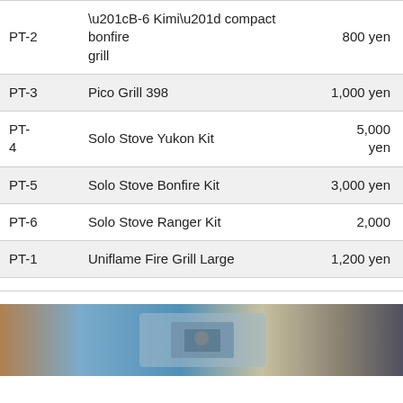| Code | Name | Price |
| --- | --- | --- |
| PT-2 | “B-6 Kimi” compact bonfire grill | 800 yen |
| PT-3 | Pico Grill 398 | 1,000 yen |
| PT-4 | Solo Stove Yukon Kit | 5,000 yen |
| PT-5 | Solo Stove Bonfire Kit | 3,000 yen |
| PT-6 | Solo Stove Ranger Kit | 2,000 |
| PT-1 | Uniflame Fire Grill Large | 1,200 yen |
[Figure (photo): Partial photo strip at the bottom of the page showing an outdoor camping/fire grill scene.]